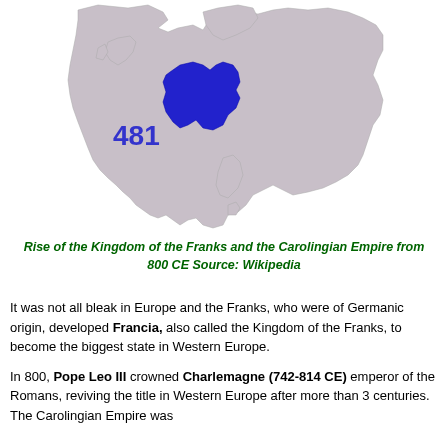[Figure (map): Map of Europe showing the Kingdom of the Franks highlighted in blue, centered roughly over modern-day France/western Germany region. The year 481 is displayed in blue text on the map. The rest of Europe is shown in gray.]
Rise of the Kingdom of the Franks and the Carolingian Empire from 800 CE Source: Wikipedia
It was not all bleak in Europe and the Franks, who were of Germanic origin, developed Francia, also called the Kingdom of the Franks, to become the biggest state in Western Europe.
In 800, Pope Leo III crowned Charlemagne (742-814 CE) emperor of the Romans, reviving the title in Western Europe after more than 3 centuries. The Carolingian Empire was